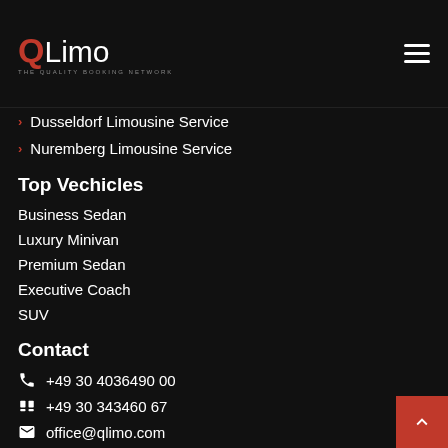QLimo
Dusseldorf Limousine Service
Nuremberg Limousine Service
Top Vechicles
Business Sedan
Luxury Minivan
Premium Sedan
Executive Coach
SUV
Contact
+49 30 4036490 00
+49 30 343460 67
office@qlimo.com